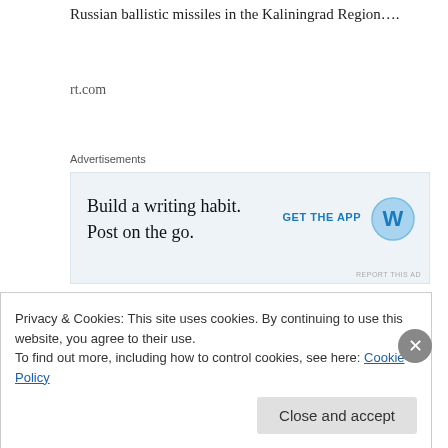Russian ballistic missiles in the Kaliningrad Region….
rt.com
Advertisements
[Figure (other): WordPress advertisement: 'Build a writing habit. Post on the go.' with GET THE APP button and WordPress logo]
NATO's military drill on Russia's border comes amid preparations to permanently station 4,000 alliance troops in Poland, Lithuania, Estonia and Latvia, a decision made at the NATO summit in Warsaw in July.
A quarter of the force would be composed of US troops currently based in Germany, who would relocate to Poland. A
Privacy & Cookies: This site uses cookies. By continuing to use this website, you agree to their use.
To find out more, including how to control cookies, see here: Cookie Policy
Close and accept